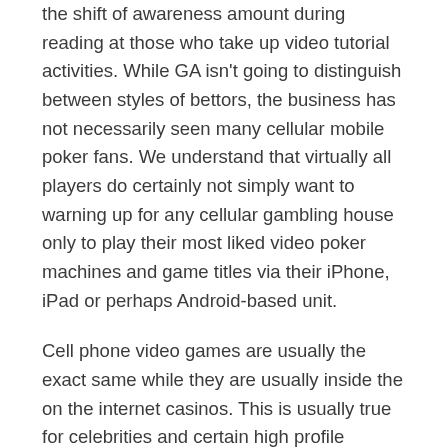the shift of awareness amount during reading at those who take up video tutorial activities. While GA isn't going to distinguish between styles of bettors, the business has not necessarily seen many cellular mobile poker fans. We understand that virtually all players do certainly not simply want to warning up for any cellular gambling house only to play their most liked video poker machines and game titles via their iPhone, iPad or perhaps Android-based unit.
Cell phone video games are usually the exact same while they are usually inside the on the internet casinos. This is usually true for celebrities and certain high profile individuals who feel that they will get some kind of negative feedback from people who see them in gambling institutions like casinos. Several individuals might be have found to come up with an important familiar miscalculation present in the video slot match. As a result please vacation connected to learn very